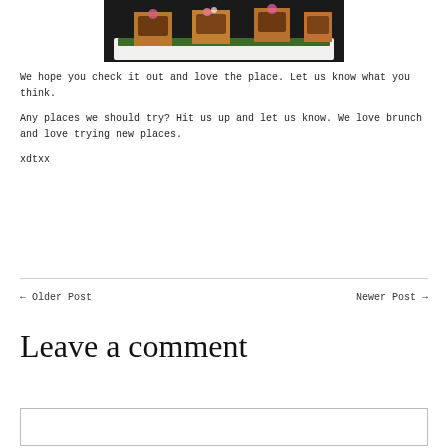[Figure (photo): Photo of small food cups/pastry shells filled with ingredients, served on a white plate with green leaves, viewed from above at an angle]
We hope you check it out and love the place. Let us know what you think.
Any places we should try? Hit us up and let us know. We love brunch and love trying new places.
xdtxx
← Older Post
Newer Post →
Leave a comment